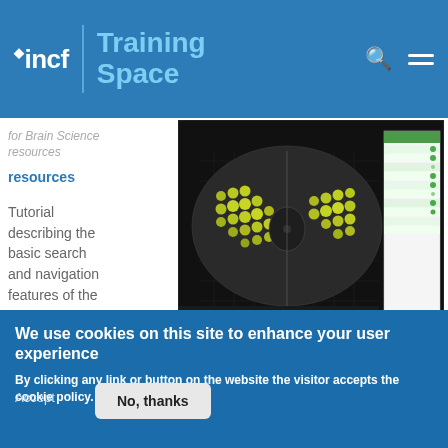incf | Training Space
for Brain Science resources
Tutorial describing the basic search and navigation features of the Allen Mouse Brain Atlas
[Figure (screenshot): Screenshot of Allen Mouse Brain Atlas showing a coronal brain section with yellow-green dot overlays on both hemispheres and a data panel on the right side]
We use cookies on this site to enhance your user experience
By clicking any link or button on the website the visitor accepts the cookie policy. More info
Accept
No, thanks